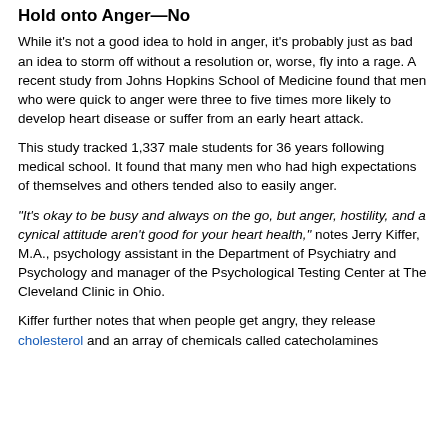Hold onto Anger—No
While it's not a good idea to hold in anger, it's probably just as bad an idea to storm off without a resolution or, worse, fly into a rage. A recent study from Johns Hopkins School of Medicine found that men who were quick to anger were three to five times more likely to develop heart disease or suffer from an early heart attack.
This study tracked 1,337 male students for 36 years following medical school. It found that many men who had high expectations of themselves and others tended also to easily anger.
“It’s okay to be busy and always on the go, but anger, hostility, and a cynical attitude aren’t good for your heart health,” notes Jerry Kiffer, M.A., psychology assistant in the Department of Psychiatry and Psychology and manager of the Psychological Testing Center at The Cleveland Clinic in Ohio.
Kiffer further notes that when people get angry, they release cholesterol and an array of chemicals called catecholamines